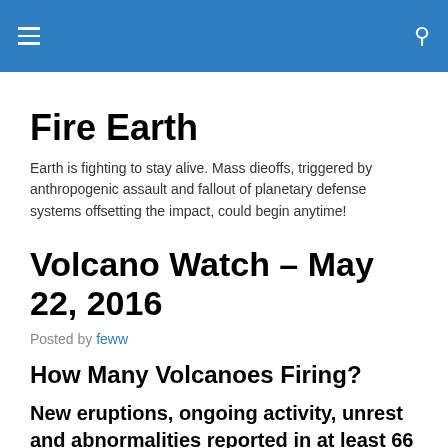Fire Earth
Fire Earth
Earth is fighting to stay alive. Mass dieoffs, triggered by anthropogenic assault and fallout of planetary defense systems offsetting the impact, could begin anytime!
Volcano Watch – May 22, 2016
Posted by feww
How Many Volcanoes Firing?
New eruptions, ongoing activity, unrest and abnormalities reported in at least 66 volcanoes